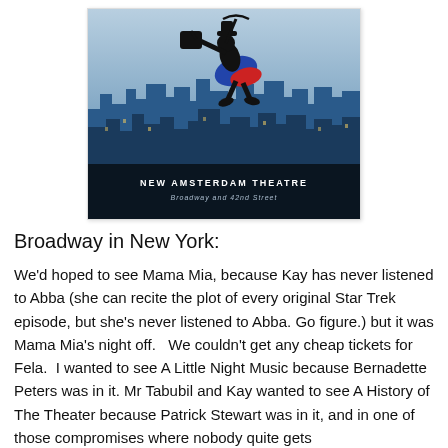[Figure (illustration): Mary Poppins style silhouette figure flying over a stylized blue cityscape with text 'NEW AMSTERDAM THEATRE Broadway and 42nd Street' at the bottom]
Broadway in New York:
We'd hoped to see Mama Mia, because Kay has never listened to Abba (she can recite the plot of every original Star Trek episode, but she's never listened to Abba. Go figure.) but it was Mama Mia's night off.   We couldn't get any cheap tickets for Fela.  I wanted to see A Little Night Music because Bernadette Peters was in it. Mr Tabubil and Kay wanted to see A History of The Theater because Patrick Stewart was in it, and in one of those compromises where nobody quite gets